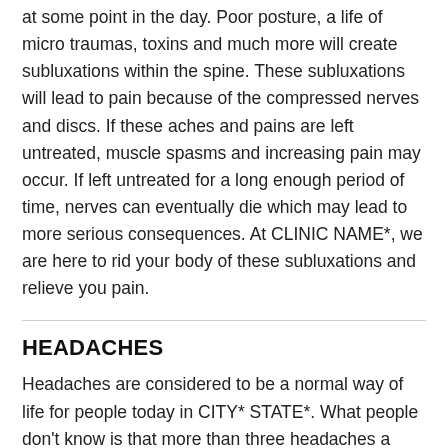at some point in the day. Poor posture, a life of micro traumas, toxins and much more will create subluxations within the spine. These subluxations will lead to pain because of the compressed nerves and discs. If these aches and pains are left untreated, muscle spasms and increasing pain may occur. If left untreated for a long enough period of time, nerves can eventually die which may lead to more serious consequences. At CLINIC NAME*, we are here to rid your body of these subluxations and relieve you pain.
HEADACHES
Headaches are considered to be a normal way of life for people today in CITY* STATE*. What people don't know is that more than three headaches a year is not normal. There are many factors that can lead